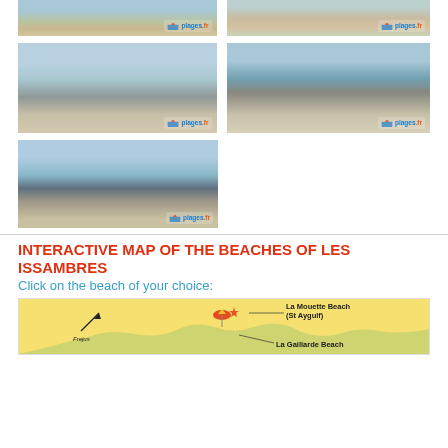[Figure (photo): Partial beach photo top left - sandy beach with umbrella watermark]
[Figure (photo): Partial beach photo top right - sandy beach with plages.fr watermark]
[Figure (photo): Rocky coastline with small beach and vegetation, aerial view - left]
[Figure (photo): Rocky coastline with clear water and buildings - right]
[Figure (photo): Rocky cove with clear blue-green water and pebble beach]
INTERACTIVE MAP OF THE BEACHES OF LES ISSAMBRES
Click on the beach of your choice:
[Figure (map): Interactive map of Les Issambres beaches on yellow background, showing La Mouette Beach (St Aygulf) and La Gaillarde Beach labels with beach umbrella icons]